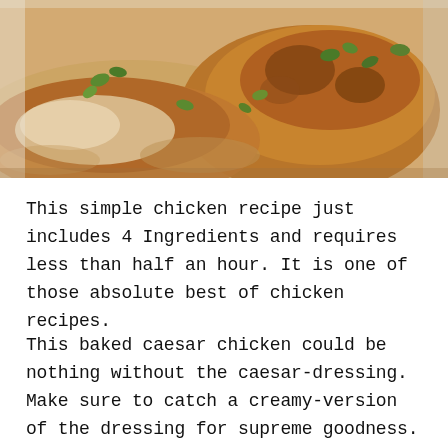[Figure (photo): Close-up photo of baked caesar chicken in a creamy sauce, topped with herbs (oregano/parsley), golden-browned surface, served in a white baking dish.]
This simple chicken recipe just includes 4 Ingredients and requires less than half an hour. It is one of those absolute best of chicken recipes.
This baked caesar chicken could be nothing without the caesar-dressing. Make sure to catch a creamy-version of the dressing for supreme goodness.